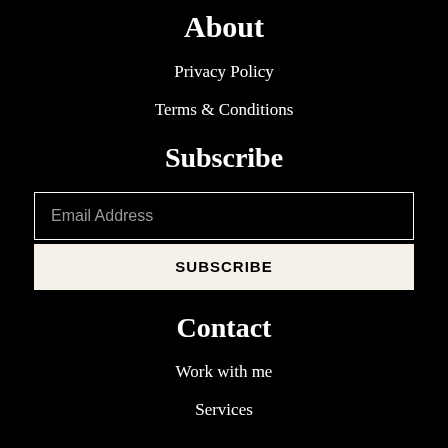About
Privacy Policy
Terms & Conditions
Subscribe
Email Address
SUBSCRIBE
Contact
Work with me
Services